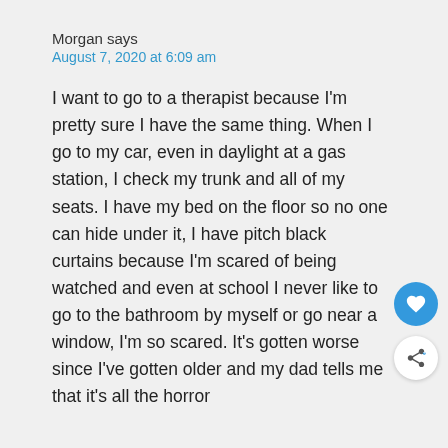Morgan says
August 7, 2020 at 6:09 am
I want to go to a therapist because I'm pretty sure I have the same thing. When I go to my car, even in daylight at a gas station, I check my trunk and all of my seats. I have my bed on the floor so no one can hide under it, I have pitch black curtains because I'm scared of being watched and even at school I never like to go to the bathroom by myself or go near a window, I'm so scared. It's gotten worse since I've gotten older and my dad tells me that it's all the horror